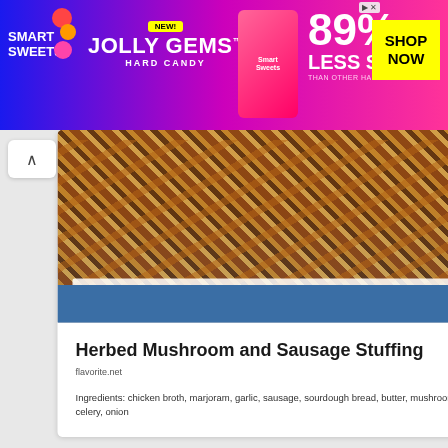[Figure (photo): Smart Sweets Jolly Gems Hard Candy advertisement banner with blue/pink gradient, colorful candy balls, product image, and 89% Less Sugar claim with yellow Shop Now button]
[Figure (photo): Photo of Herbed Mushroom and Sausage Stuffing in a white baking dish on a blue cloth background]
Herbed Mushroom and Sausage Stuffing
flavorite.net
Ingredients: chicken broth, marjoram, garlic, sausage, sourdough bread, butter, mushroom, celery, onion